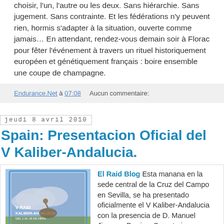choisir, l'un, l'autre ou les deux. Sans hiérarchie. Sans jugement. Sans contrainte. Et les fédérations n'y peuvent rien, hormis s'adapter à la situation, ouverte comme jamais… En attendant, rendez-vous demain soir à Florac pour fêter l'événement à travers un rituel historiquement européen et génétiquement français : boire ensemble une coupe de champagne.
Endurance.Net à 07:08    Aucun commentaire:
jeudi 8 avril 2010
Spain: Presentacion Oficial del V Kaliber-Andalucia.
[Figure (photo): Photo of V Raid Kaliber-Andalucia promotional poster/display]
El Raid Blog Esta manana en la sede central de la Cruz del Campo en Sevilla, se ha presentado oficialmente el V Kaliber-Andalucia con la presencia de D. Manuel Jimenez Barrios, Secretario...